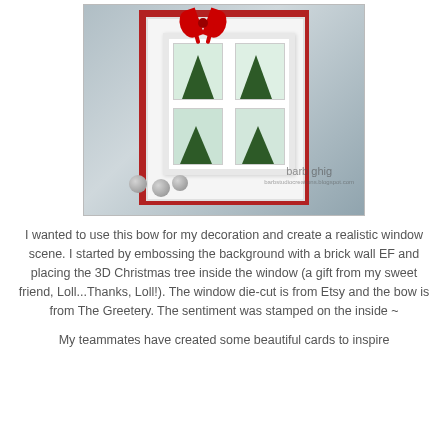[Figure (photo): A handmade Christmas card featuring a white embossed window with a red bow on top, a 3D Christmas tree visible through the window panes, on a red-bordered card, with three jingle bells at the bottom and a signature reading 'barb ghig' with website barbstudiocreations.blogspot.com]
I wanted to use this bow for my decoration and create a realistic window scene. I started by embossing the background with a brick wall EF and placing the 3D Christmas tree inside the window (a gift from my sweet friend, Loll...Thanks, Loll!). The window die-cut is from Etsy and the bow is from The Greetery. The sentiment was stamped on the inside ~
My teammates have created some beautiful cards to inspire